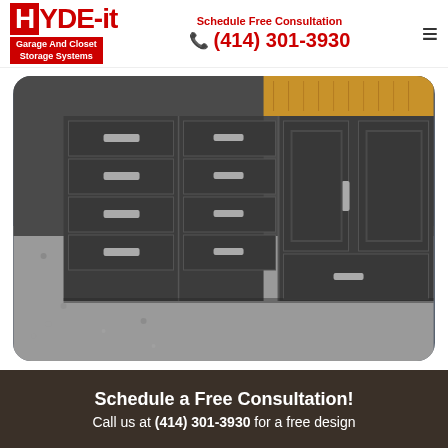HYDE-it Garage And Closet Storage Systems | Schedule Free Consultation | (414) 301-3930
[Figure (photo): Dark gray garage storage cabinets and drawers with silver bar handles, showing a epoxy-coated speckled gray garage floor in the foreground and a wooden butcher block countertop at the top right. The photo is displayed with rounded corners.]
Schedule a Free Consultation!
Call us at (414) 301-3930 for a free design